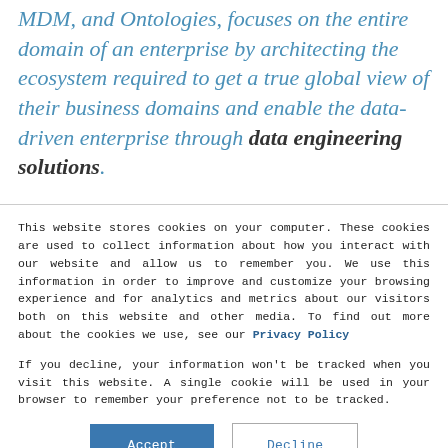MDM, and Ontologies, focuses on the entire domain of an enterprise by architecting the ecosystem required to get a true global view of their business domains and enable the data-driven enterprise through data engineering solutions.
This website stores cookies on your computer. These cookies are used to collect information about how you interact with our website and allow us to remember you. We use this information in order to improve and customize your browsing experience and for analytics and metrics about our visitors both on this website and other media. To find out more about the cookies we use, see our Privacy Policy
If you decline, your information won't be tracked when you visit this website. A single cookie will be used in your browser to remember your preference not to be tracked.